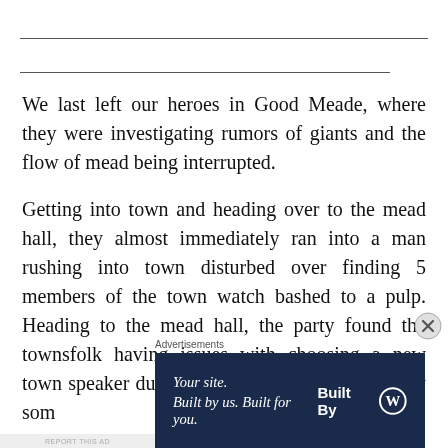We last left our heroes in Good Meade, where they were investigating rumors of giants and the flow of mead being interrupted.
Getting into town and heading over to the mead hall, they almost immediately ran into a man rushing into town disturbed over finding 5 members of the town watch bashed to a pulp. Heading to the mead hall, the party found the townsfolk having issues with choosing a new town speaker due to the last one getting killed by som
Advertisements
[Figure (other): Advertisement banner: dark navy blue background. Left side shows italic text 'Your site.' and 'Built by us. Built for you.' in white. Right side shows 'Built By' in bold white text next to a circular WordPress logo icon.]